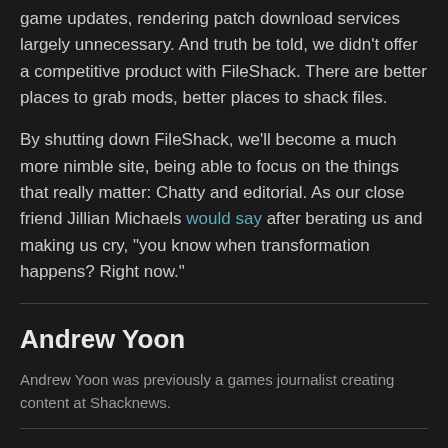game updates, rendering patch download services largely unnecessary. And truth be told, we didn't offer a competitive product with FileShack. There are better places to grab mods, better places to shack files.
By shutting down FileShack, we'll become a much more nimble site, being able to focus on the things that really matter: Chatty and editorial. As our close friend Jillian Michaels would say after berating us and making us cry, "you know when transformation happens? Right now."
Andrew Yoon
Andrew Yoon was previously a games journalist creating content at Shacknews.